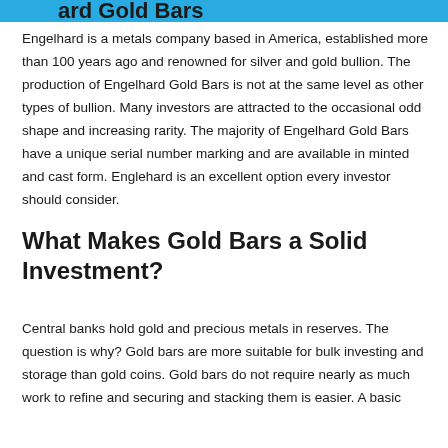...ard Gold Bars
Engelhard is a metals company based in America, established more than 100 years ago and renowned for silver and gold bullion. The production of Engelhard Gold Bars is not at the same level as other types of bullion. Many investors are attracted to the occasional odd shape and increasing rarity. The majority of Engelhard Gold Bars have a unique serial number marking and are available in minted and cast form. Englehard is an excellent option every investor should consider.
What Makes Gold Bars a Solid Investment?
Central banks hold gold and precious metals in reserves. The question is why? Gold bars are more suitable for bulk investing and storage than gold coins. Gold bars do not require nearly as much work to refine and securing and stacking them is easier. A basic